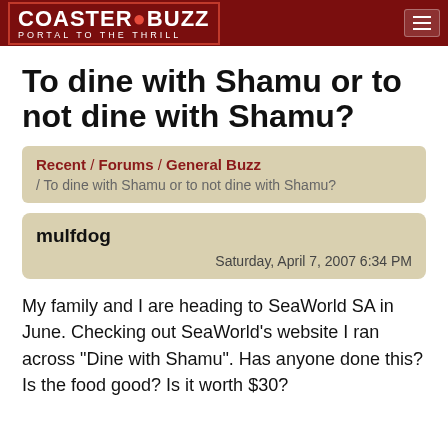COASTER BUZZ · PORTAL TO THE THRILL
To dine with Shamu or to not dine with Shamu?
Recent / Forums / General Buzz / To dine with Shamu or to not dine with Shamu?
mulfdog
Saturday, April 7, 2007 6:34 PM
My family and I are heading to SeaWorld SA in June. Checking out SeaWorld's website I ran across "Dine with Shamu". Has anyone done this? Is the food good? Is it worth $30?